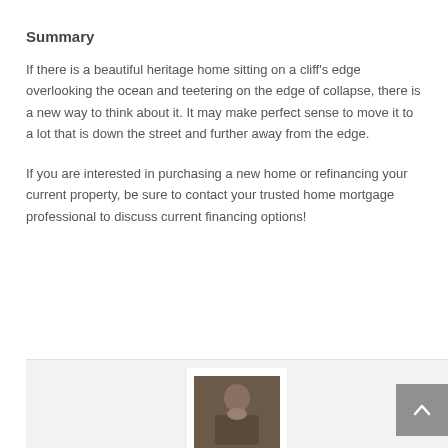Summary
If there is a beautiful heritage home sitting on a cliff's edge overlooking the ocean and teetering on the edge of collapse, there is a new way to think about it. It may make perfect sense to move it to a lot that is down the street and further away from the edge.
If you are interested in purchasing a new home or refinancing your current property, be sure to contact your trusted home mortgage professional to discuss current financing options!
[Figure (photo): Photo of a mortgage professional in a suit, used in an author/contact card at the bottom of the page]